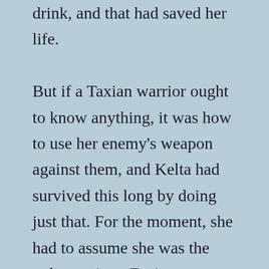drink, and that had saved her life.

But if a Taxian warrior ought to know anything, it was how to use her enemy's weapon against them, and Kelta had survived this long by doing just that. For the moment, she had to assume she was the only survivor. Facing a score of enemies alone would be fatally stupid. The teardrop of black stone on her necklace still felt hot against her skin